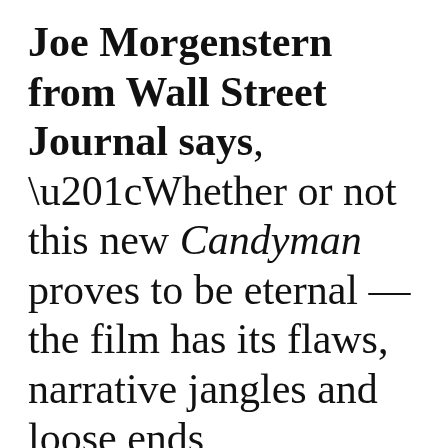Joe Morgenstern from Wall Street Journal says, “Whether or not this new Candyman proves to be eternal — the film has its flaws, narrative jangles and loose ends